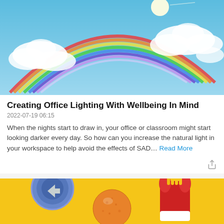[Figure (photo): Rainbow in a blue sky with bright sun and white clouds]
Creating Office Lighting With Wellbeing In Mind
2022-07-19 06:15
When the nights start to draw in, your office or classroom might start looking darker every day. So how can you increase the natural light in your workspace to help avoid the effects of SAD… Read More
[Figure (photo): Objects on a yellow background including a blue cup, orange ball, and red rocket-shaped container]